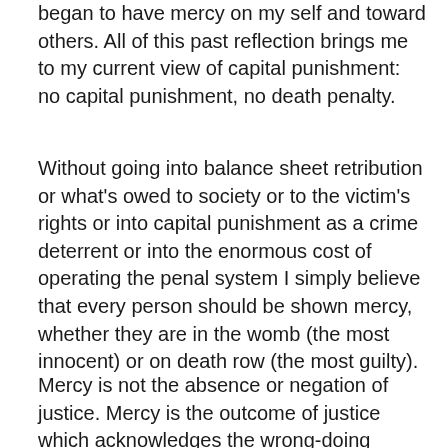began to have mercy on my self and toward others. All of this past reflection brings me to my current view of capital punishment:  no capital punishment, no death penalty.
Without going into balance sheet retribution or what's owed to society or to the victim's rights or into capital punishment as a crime deterrent or into the enormous cost of operating the penal system I simply believe that every person should be shown mercy, whether they are in the womb (the most innocent) or on death row (the most guilty).
Mercy is not the absence or negation of justice. Mercy is the outcome of justice which acknowledges the wrong-doing before both parties (the perpetrator and the victim) and demands retribution. But instead of giving the criminal what he fully deserves mercy, instead, hands the perpetrator the noose of time.